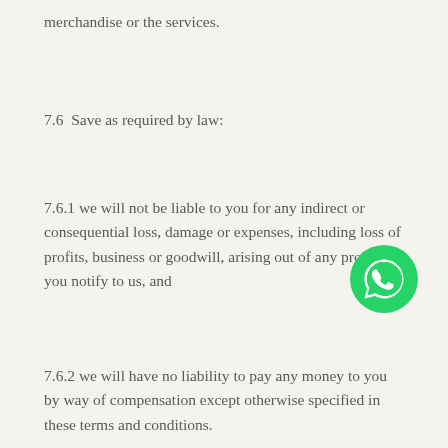merchandise or the services.
7.6  Save as required by law:
7.6.1 we will not be liable to you for any indirect or consequential loss, damage or expenses, including loss of profits, business or goodwill, arising out of any problem you notify to us, and
[Figure (logo): WhatsApp logo button - green circle with white phone/chat icon]
7.6.2 we will have no liability to pay any money to you by way of compensation except otherwise specified in these terms and conditions.